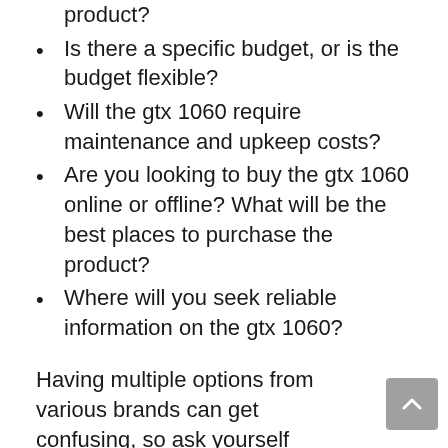product?
Is there a specific budget, or is the budget flexible?
Will the gtx 1060 require maintenance and upkeep costs?
Are you looking to buy the gtx 1060 online or offline? What will be the best places to purchase the product?
Where will you seek reliable information on the gtx 1060?
Having multiple options from various brands can get confusing, so ask yourself these questions to narrow down your research.